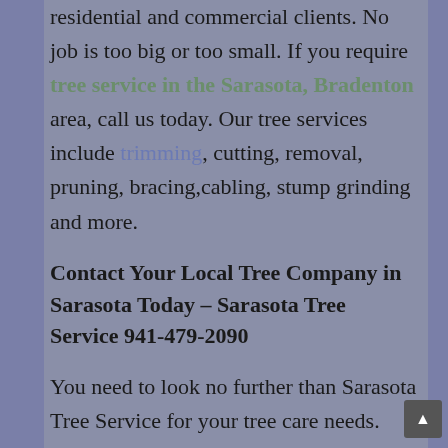residential and commercial clients. No job is too big or too small. If you require tree service in the Sarasota, Bradenton area, call us today. Our tree services include trimming, cutting, removal, pruning, bracing,cabling, stump grinding and more.
Contact Your Local Tree Company in Sarasota Today – Sarasota Tree Service 941-479-2090
You need to look no further than Sarasota Tree Service for your tree care needs. Many of the clients we do work for have been recommended by other clients. In fact we are recommended quite often as the tree removal company in Manatee